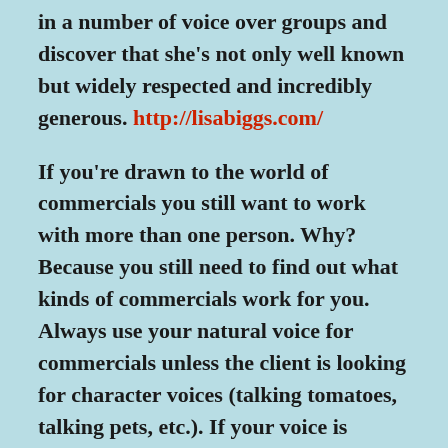in a number of voice over groups and discover that she's not only well known but widely respected and incredibly generous. http://lisabiggs.com/
If you're drawn to the world of commercials you still want to work with more than one person. Why? Because you still need to find out what kinds of commercials work for you. Always use your natural voice for commercials unless the client is looking for character voices (talking tomatoes, talking pets, etc.). If your voice is young you probably won't book many ads about banks, real estate, or automotive spots; however, you might have luck with ads for cosmetics, restaurants, fashion, or vacation packages. If your voice is older or deeper you can do